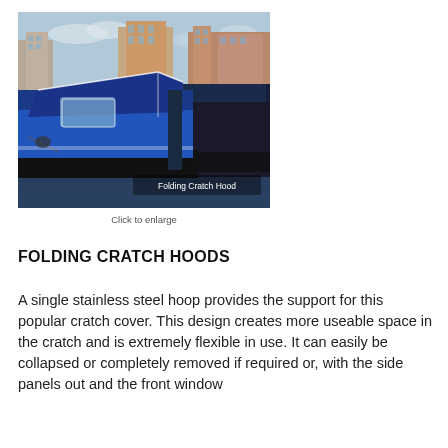[Figure (photo): Photo of two narrowboats moored together, the front one is blue with a folding cratch hood covering the bow. Buildings visible in background. Text overlay reads 'Folding Cratch Hood'.]
Click to enlarge
FOLDING CRATCH HOODS
A single stainless steel hoop provides the support for this popular cratch cover. This design creates more useable space in the cratch and is extremely flexible in use. It can easily be collapsed or completely removed if required or, with the side panels out and the front window